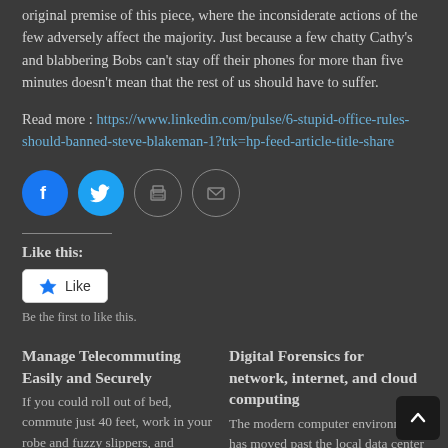original premise of this piece, where the inconsiderate actions of the few adversely affect the majority. Just because a few chatty Cathy's and blabbering Bobs can't stay off their phones for more than five minutes doesn't mean that the rest of us should have to suffer.
Read more : https://www.linkedin.com/pulse/6-stupid-office-rules-should-banned-steve-blakeman-1?trk=hp-feed-article-title-share
[Figure (infographic): Four social sharing icon buttons: Facebook (blue circle), Twitter (blue circle), Print (white/outline circle), Email (white/outline circle)]
Like this:
[Figure (infographic): WordPress Like button with star icon and 'Like' text, white background with border]
Be the first to like this.
Manage Telecommuting Easily and Securely
If you could roll out of bed, commute just 40 feet, work in your robe and fuzzy slippers, and
Digital Forensics for network, internet, and cloud computing
The modern computer environment has moved past the local data center